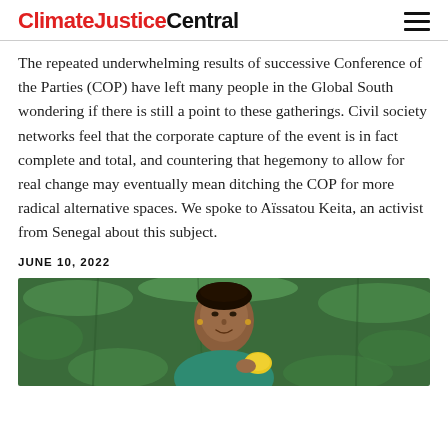ClimateJusticeCentral
The repeated underwhelming results of successive Conference of the Parties (COP) have left many people in the Global South wondering if there is still a point to these gatherings. Civil society networks feel that the corporate capture of the event is in fact complete and total, and countering that hegemony to allow for real change may eventually mean ditching the COP for more radical alternative spaces. We spoke to Aïssatou Keita, an activist from Senegal about this subject.
JUNE 10, 2022
[Figure (photo): A woman, seemingly an African activist, standing outdoors among green plants, wearing a teal/green top, looking at the camera with a slight smile.]